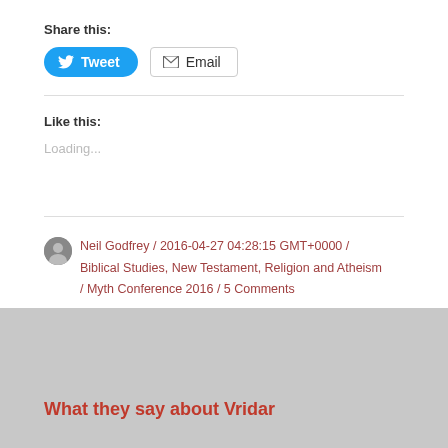Share this:
[Figure (other): Tweet button (blue rounded) and Email button (outlined with envelope icon)]
Like this:
Loading...
Neil Godfrey / 2016-04-27 04:28:15 GMT+0000 / Biblical Studies, New Testament, Religion and Atheism / Myth Conference 2016 / 5 Comments
What they say about Vridar